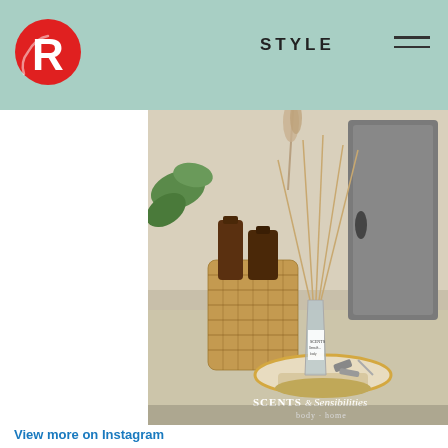STYLE
[Figure (logo): Rappler R logo in red circle]
[Figure (photo): Reed diffuser with rattan basket bottles on a counter, Scents and Sensibilities branding, body and home]
View more on Instagram